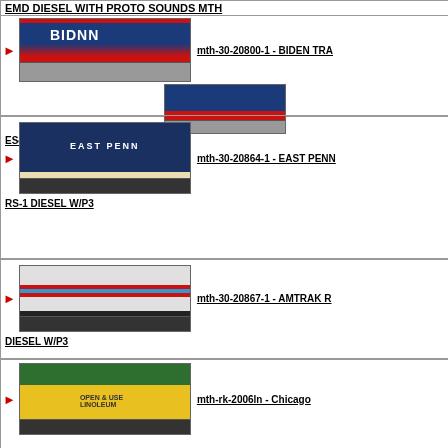EMD DIESEL WITH PROTO SOUNDS MTH
[Figure (photo): Biden Train ES44AC Diesel locomotive in blue/red/white colors on track]
mth-30-20800-1 - BIDEN TRA
[Figure (photo): Biden Train caboose in blue/red/white colors on track]
ES44AC DIESEL AND CABOOSE
[Figure (photo): East Penn RS-1 Diesel locomotive in dark blue on track]
mth-30-20864-1 - EAST PENN
RS-1 DIESEL W/P3
[Figure (photo): Amtrak RS-1 Diesel locomotive in silver/red/blue stripes on track]
mth-30-20867-1 - AMTRAK R
DIESEL W/P3
[Figure (photo): Chicago area locomotive in green and yellow colors on track]
mth-rk-2006ln - Chicago